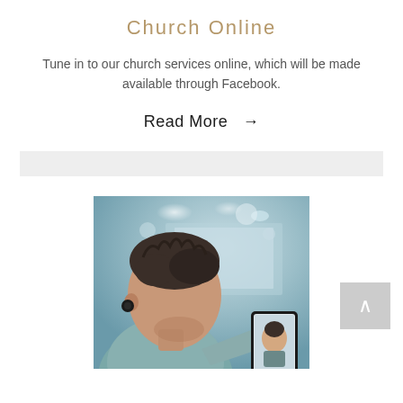Church Online
Tune in to our church services online, which will be made available through Facebook.
Read More →
[Figure (other): A light gray horizontal divider bar]
[Figure (photo): A man seen from behind with a wireless earphone, holding a smartphone displaying a video call, in a blurred indoor setting with blue-tinted background lighting.]